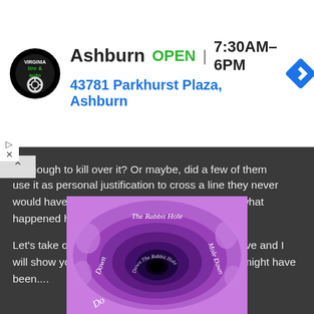[Figure (other): Advertisement banner: Virginia Tire & Auto logo (circular black badge). Text: Ashburn OPEN 7:30AM–6PM, 43781 Parkhurst Plaza, Ashburn. Blue navigation diamond icon on right.]
ry enough to kill over it? Or maybe, did a few of them use it as personal justification to cross a line they never would have otherwise? Is it possible that this is what happened here?
Let's take one last look at the Helter Skelter motive and I will show you for the final time why I think it just might have been....
[Figure (illustration): Purple swirling vortex / rabbit hole illustration with layered paper-cut style concentric shapes. White cursive text reading 'The Rabbit Hole', 'Down', 'Down The Rabbit Hole', 'Mole Down' on various layers.]